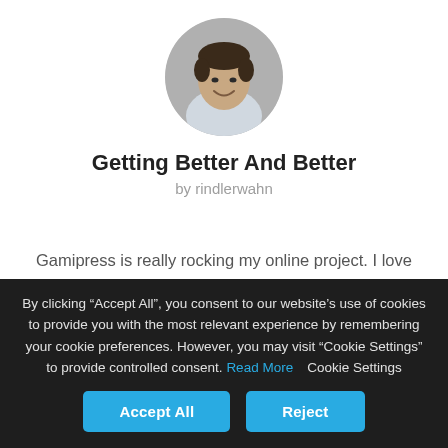[Figure (photo): Circular profile photo of a man smiling, dark hair, wearing light-colored top]
Getting Better And Better
by rindlerwahn
Gamipress is really rocking my online project. I love it and highly recommend it. The team is doing a great job and
By clicking “Accept All”, you consent to our website’s use of cookies to provide you with the most relevant experience by remembering your cookie preferences. However, you may visit “Cookie Settings” to provide controlled consent. Read More   Cookie Settings
Accept All
Reject